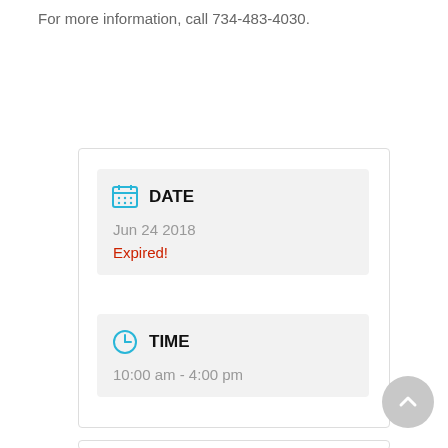For more information, call 734-483-4030.
DATE
Jun 24 2018
Expired!
TIME
10:00 am - 4:00 pm